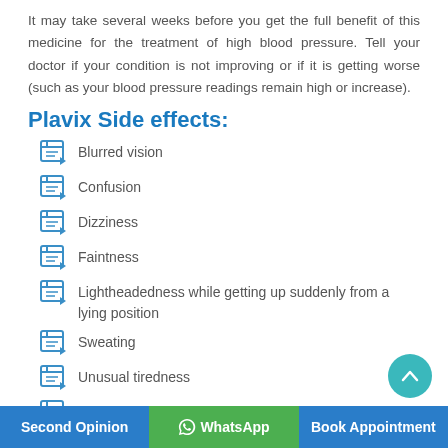It may take several weeks before you get the full benefit of this medicine for the treatment of high blood pressure. Tell your doctor if your condition is not improving or if it is getting worse (such as your blood pressure readings remain high or increase).
Plavix Side effects:
Blurred vision
Confusion
Dizziness
Faintness
Lightheadedness while getting up suddenly from a lying position
Sweating
Unusual tiredness
Weakness
Second Opinion | WhatsApp | Book Appointment